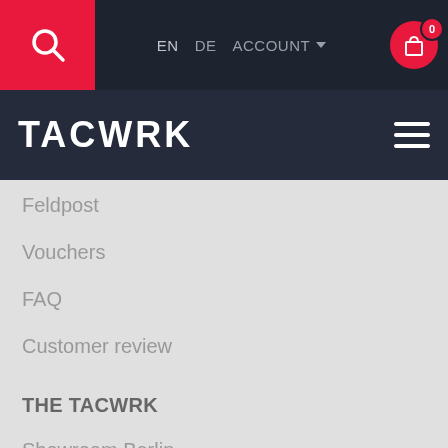EN  DE  ACCOUNT  0
[Figure (logo): TACWRK logo in white text on dark navy background]
Feldpost
Vouchers
FAQ
Customer review
THE TACWRK
Showroom Berlin
By choosing "Accept all" you agree to the use of cookies, pixels, tags and similar technologies. We use these technologies to personalize content and ads, offer functions for social media, analyze access to our website and learn about device and browser settings. Further information and all options can